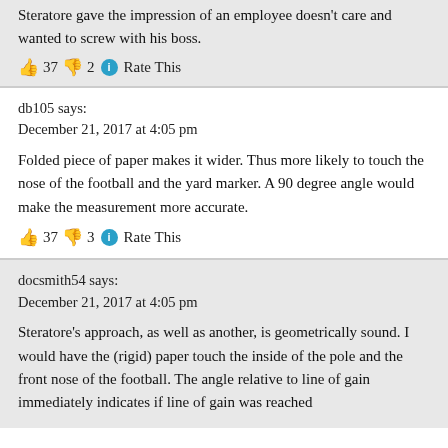Steratore gave the impression of an employee doesn't care and wanted to screw with his boss.
👍 37 👎 2 ℹ Rate This
db105 says:
December 21, 2017 at 4:05 pm
Folded piece of paper makes it wider. Thus more likely to touch the nose of the football and the yard marker. A 90 degree angle would make the measurement more accurate.
👍 37 👎 3 ℹ Rate This
docsmith54 says:
December 21, 2017 at 4:05 pm
Steratore's approach, as well as another, is geometrically sound. I would have the (rigid) paper touch the inside of the pole and the front nose of the football. The angle relative to line of gain immediately indicates if line of gain was reached